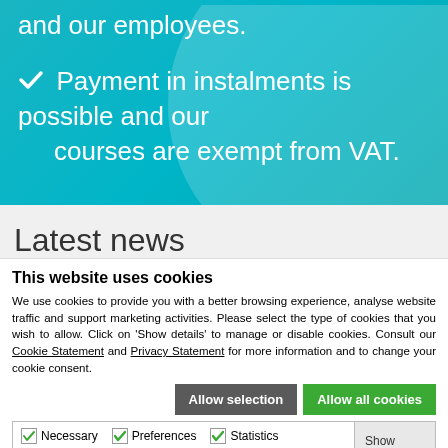and our employees.
Payment in instalments is possible and our courses are exempt from VAT.
Latest news
This website uses cookies
We use cookies to provide you with a better browsing experience, analyse website traffic and support marketing activities. Please select the type of cookies that you wish to allow. Click on 'Show details' to manage or disable cookies. Consult our Cookie Statement and Privacy Statement for more information and to change your cookie consent.
Allow selection | Allow all cookies
Necessary | Preferences | Statistics | Marketing | Show details